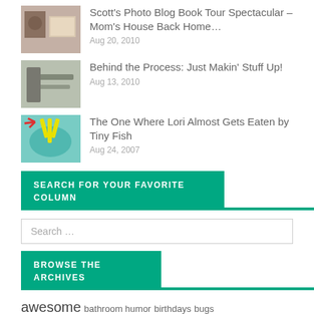Scott's Photo Blog Book Tour Spectacular – Mom's House Back Home… Aug 20, 2010
Behind the Process: Just Makin' Stuff Up! Aug 13, 2010
The One Where Lori Almost Gets Eaten by Tiny Fish Aug 24, 2007
SEARCH FOR YOUR FAVORITE COLUMN
Search …
BROWSE THE ARCHIVES
awesome bathroom humor birthdays bugs christmas civic duties & political ramblings computers &